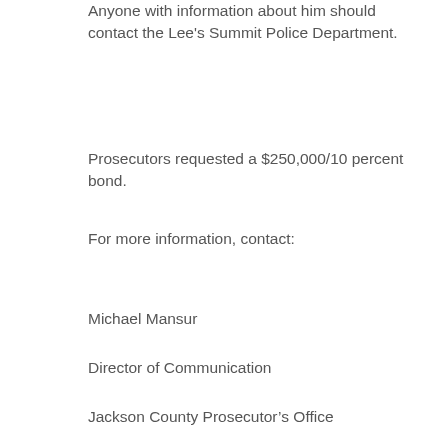Anyone with information about him should contact the Lee's Summit Police Department.
Prosecutors requested a $250,000/10 percent bond.
For more information, contact:
Michael Mansur
Director of Communication
Jackson County Prosecutor's Office
Jean Peters Baker, Prosecutor
Work   : (816) 881-3812
Mobile: (816) 674-3954
mmansur@jacksongov.org
http://jacksoncountyprosecutor.com